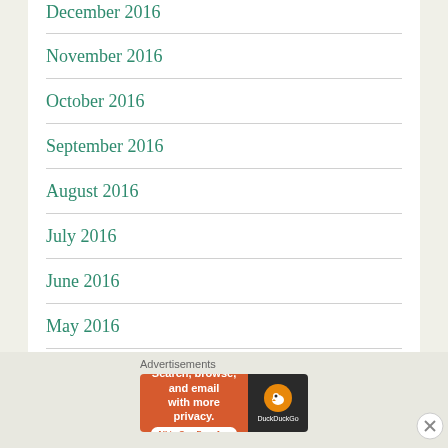December 2016
November 2016
October 2016
September 2016
August 2016
July 2016
June 2016
May 2016
March 2016
Advertisements
[Figure (screenshot): DuckDuckGo advertisement banner: orange left panel with text 'Search, browse, and email with more privacy. All in One Free App' and dark right panel with DuckDuckGo duck logo]